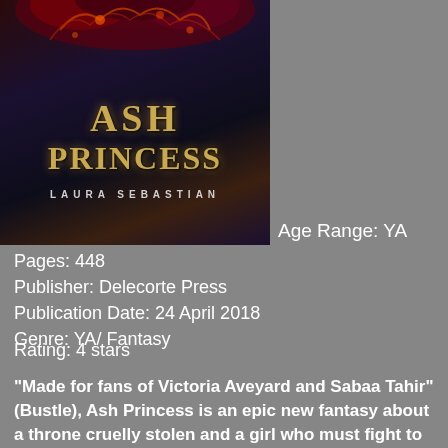[Figure (illustration): Book cover of 'Ash Princess' by Laura Sebastian. Dark fantasy cover with golden ornate lettering on a dark textured background with red/dark floral elements at the top.]
Age Range: YA
Pages: 448
Publisher: Delecorte Press
Publication Date: 24 April 2018
Genre: YA/ Fantasy
Rating: 4 stars
"Made for fans of Victoria Aveyard and Sabaa Tahir" (Bustle), Ash Princess is an epic new fantasy about a throne cruelly stolen and a girl who must fight to take it back for her people.